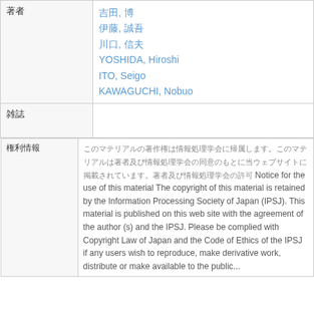|  |  |
| --- | --- |
| 著者 | 吉田, 博
伊藤, 誠吾
川口, 信夫
YOSHIDA, Hiroshi
ITO, Seigo
KAWAGUCHI, Nobuo |
| 雑誌 |  |
|  | 権利 [Japanese text] Notice for the use of this material The copyright of this material is retained by the Information Processing Society of Japan (IPSJ). This material is published on this web site with the agreement of the author (s) and the IPSJ. Please be complied with Copyright Law of Japan and the Code of Ethics of the IPSJ if any users wish to reproduce, make derivative work, distribute or make available to the public... |